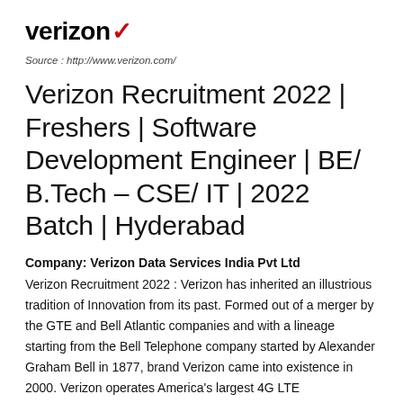[Figure (logo): Verizon logo with red checkmark]
Source : http://www.verizon.com/
Verizon Recruitment 2022 | Freshers | Software Development Engineer | BE/ B.Tech – CSE/ IT | 2022 Batch | Hyderabad
Company: Verizon Data Services India Pvt Ltd
Verizon Recruitment 2022 : Verizon has inherited an illustrious tradition of Innovation from its past. Formed out of a merger by the GTE and Bell Atlantic companies and with a lineage starting from the Bell Telephone company started by Alexander Graham Bell in 1877, brand Verizon came into existence in 2000. Verizon operates America's largest 4G LTE